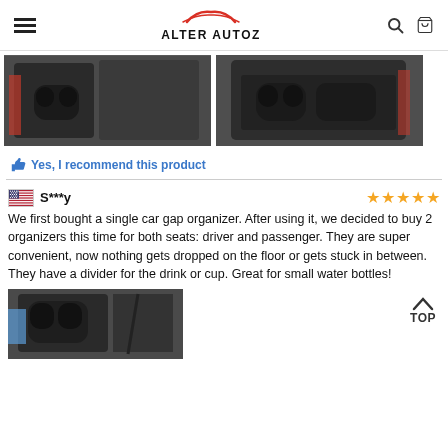ALTER AUTOZ
[Figure (photo): Two product photos of car gap organizer shown side by side]
Yes, I recommend this product
S***y — 5 stars
We first bought a single car gap organizer. After using it, we decided to buy 2 organizers this time for both seats: driver and passenger. They are super convenient, now nothing gets dropped on the floor or gets stuck in between. They have a divider for the drink or cup. Great for small water bottles!
[Figure (photo): Photo of car gap organizer installed in car, showing cup holder area with cable]